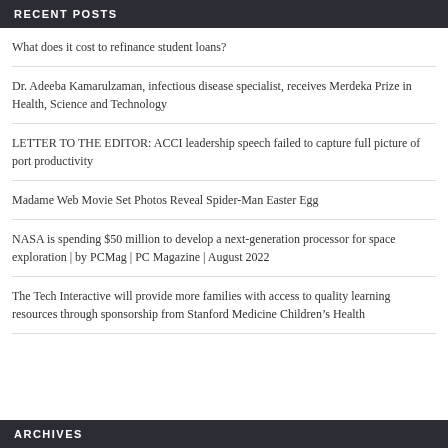RECENT POSTS
What does it cost to refinance student loans?
Dr. Adeeba Kamarulzaman, infectious disease specialist, receives Merdeka Prize in Health, Science and Technology
LETTER TO THE EDITOR: ACCI leadership speech failed to capture full picture of port productivity
Madame Web Movie Set Photos Reveal Spider-Man Easter Egg
NASA is spending $50 million to develop a next-generation processor for space exploration | by PCMag | PC Magazine | August 2022
The Tech Interactive will provide more families with access to quality learning resources through sponsorship from Stanford Medicine Children’s Health
ARCHIVES